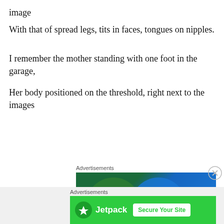image
With that of spread legs, tits in faces, tongues on nipples.
I remember the mother standing with one foot in the garage,
Her body positioned on the threshold, right next to the images
Advertisements
[Figure (illustration): Advertisement banner with overlapping green and blue circles on dark background with white triangle at bottom]
Advertisements
[Figure (illustration): Jetpack advertisement banner with green background, Jetpack logo and icon, and 'Secure Your Site' button]